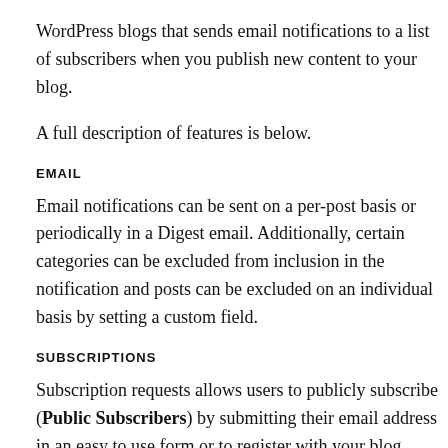WordPress blogs that sends email notifications to a list of subscribers when you publish new content to your blog.
A full description of features is below.
EMAIL
Email notifications can be sent on a per-post basis or periodically in a Digest email. Additionally, certain categories can be excluded from inclusion in the notification and posts can be excluded on an individual basis by setting a custom field.
SUBSCRIPTIONS
Subscription requests allows users to publicly subscribe (Public Subscribers) by submitting their email address in an easy to use form or to register with your blog (Registered Users) which would be